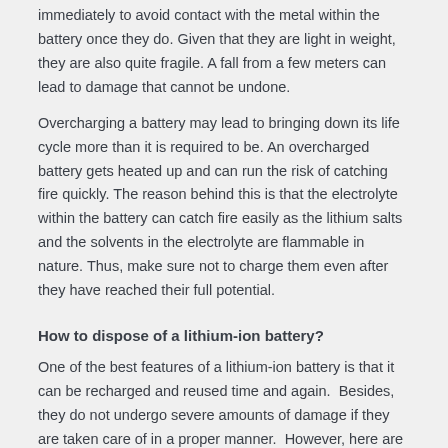immediately to avoid contact with the metal within the battery once they do. Given that they are light in weight, they are also quite fragile. A fall from a few meters can lead to damage that cannot be undone.
Overcharging a battery may lead to bringing down its life cycle more than it is required to be. An overcharged battery gets heated up and can run the risk of catching fire quickly. The reason behind this is that the electrolyte within the battery can catch fire easily as the lithium salts and the solvents in the electrolyte are flammable in nature. Thus, make sure not to charge them even after they have reached their full potential.
How to dispose of a lithium-ion battery?
One of the best features of a lithium-ion battery is that it can be recharged and reused time and again.  Besides, they do not undergo severe amounts of damage if they are taken care of in a proper manner.  However, here are some of the ways in which you can dispose of the battery in case the battery goes bad.